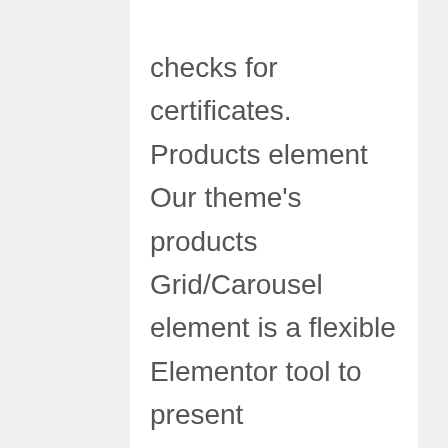checks for certificates. Products element Our theme's products Grid/Carousel element is a flexible Elementor tool to present WooCoomerce products. Each value has a prefix of 0x, which indicates that it is a hexadecimal constant. 3. Core features. They can get more information about the server